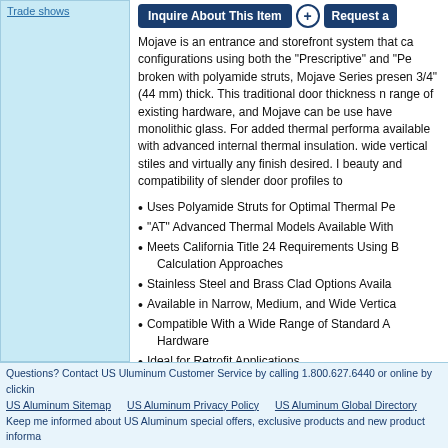Trade Shows
Mojave is an entrance and storefront system that can be configured in configurations using both the "Prescriptive" and "Pe... broken with polyamide struts, Mojave Series presents 3/4" (44 mm) thick. This traditional door thickness n... range of existing hardware, and Mojave can be used have monolithic glass. For added thermal performa... available with advanced internal thermal insulation. wide vertical stiles and virtually any finish desired. beauty and compatibility of slender door profiles to
Uses Polyamide Struts for Optimal Thermal Pe...
"AT" Advanced Thermal Models Available With...
Meets California Title 24 Requirements Using both Calculation Approaches
Stainless Steel and Brass Clad Options Availa...
Available in Narrow, Medium, and Wide Vertica...
Compatible With a Wide Range of Standard A... Hardware
Ideal for Retrofit Applications
Accommodates 1" (25 mm) Insulating Glass
Questions? Contact US Uluminum Customer Service by calling 1.800.627.6440 or online by clicking | US Aluminum Sitemap  US Aluminum Privacy Policy  US Aluminum Global Directory | Keep me informed about US Aluminum special offers, exclusive products and new product informa...